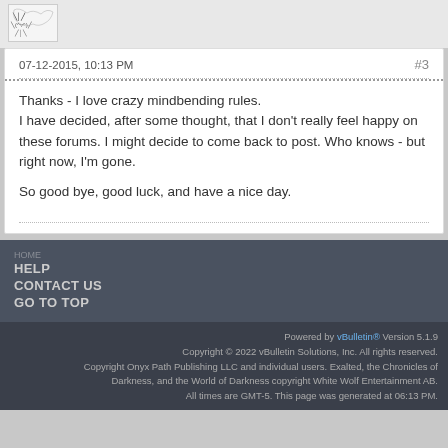[Figure (illustration): User avatar image with sketchy drawing style in a small white box]
07-12-2015, 10:13 PM
#3
Thanks - I love crazy mindbending rules.
I have decided, after some thought, that I don't really feel happy on these forums. I might decide to come back to post. Who knows - but right now, I'm gone.

So good bye, good luck, and have a nice day.
HELP
CONTACT US
GO TO TOP
Powered by vBulletin® Version 5.1.9. Copyright © 2022 vBulletin Solutions, Inc. All rights reserved. Copyright Onyx Path Publishing LLC and individual users. Exalted, the Chronicles of Darkness, and the World of Darkness copyright White Wolf Entertainment AB. All times are GMT-5. This page was generated at 06:13 PM.